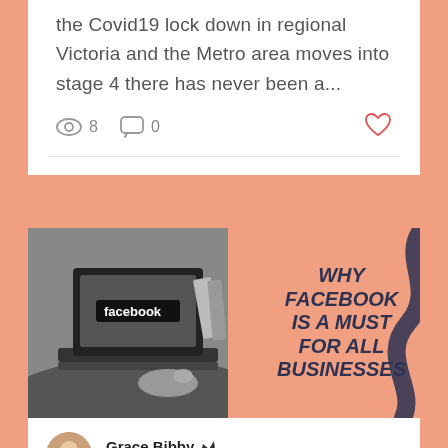the Covid19 lock down in regional Victoria and the Metro area moves into stage 4 there has never been a...
8   0
[Figure (illustration): Blog post thumbnail image showing a laptop with Facebook on screen on the left (black and white photo) and text on the right reading WHY FACEBOOK IS A MUST FOR ALL BUSINESSES on a salmon/peach background]
Grace Bibby  Jun 19, 2020 · 5 min
FB owns 1 in every